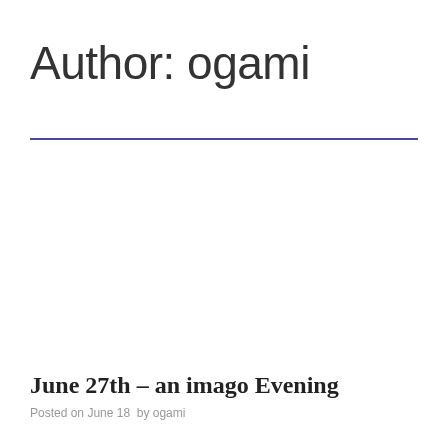Author: ogami
June 27th – an imago Evening
Posted on June 18  by ogami